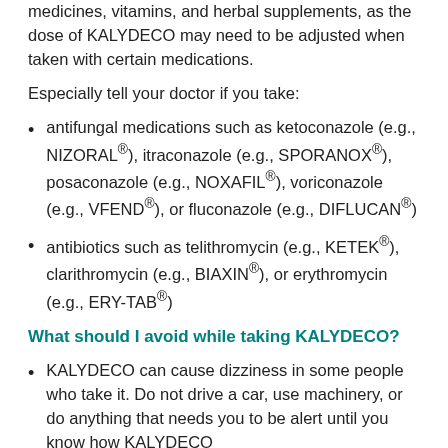medicines, vitamins, and herbal supplements, as the dose of KALYDECO may need to be adjusted when taken with certain medications.
Especially tell your doctor if you take:
antifungal medications such as ketoconazole (e.g., NIZORAL®), itraconazole (e.g., SPORANOX®), posaconazole (e.g., NOXAFIL®), voriconazole (e.g., VFEND®), or fluconazole (e.g., DIFLUCAN®)
antibiotics such as telithromycin (e.g., KETEK®), clarithromycin (e.g., BIAXIN®), or erythromycin (e.g., ERY-TAB®)
What should I avoid while taking KALYDECO?
KALYDECO can cause dizziness in some people who take it. Do not drive a car, use machinery, or do anything that needs you to be alert until you know how KALYDECO